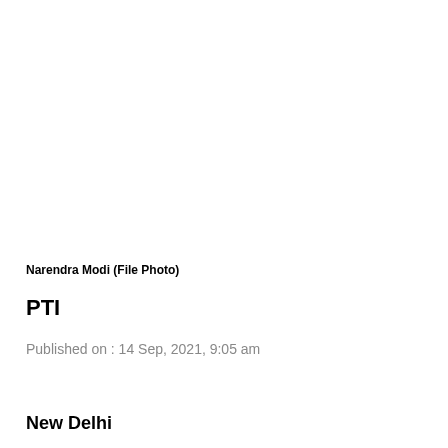Narendra Modi (File Photo)
PTI
Published on : 14 Sep, 2021, 9:05 am
New Delhi